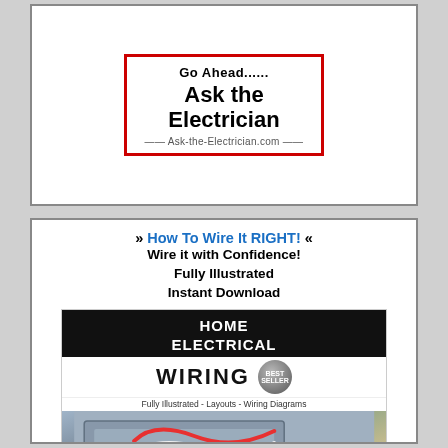[Figure (advertisement): Ask the Electrician advertisement box with red border, text 'Go Ahead...... Ask the Electrician' and URL 'Ask-the-Electrician.com']
[Figure (advertisement): How To Wire It RIGHT! book advertisement. Shows book cover for 'Home Electrical Wiring' by David W. Rongey, with text 'Wire it with Confidence! Fully Illustrated Instant Download' and 'Now You Can' at bottom.]